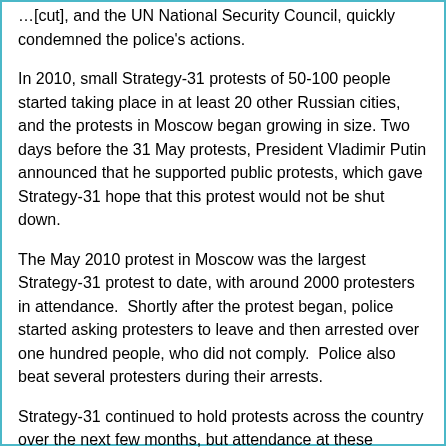…[cut], and the UN National Security Council, quickly condemned the police's actions.
In 2010, small Strategy-31 protests of 50-100 people started taking place in at least 20 other Russian cities, and the protests in Moscow began growing in size. Two days before the 31 May protests, President Vladimir Putin announced that he supported public protests, which gave Strategy-31 hope that this protest would not be shut down.
The May 2010 protest in Moscow was the largest Strategy-31 protest to date, with around 2000 protesters in attendance.  Shortly after the protest began, police started asking protesters to leave and then arrested over one hundred people, who did not comply.  Police also beat several protesters during their arrests.
Strategy-31 continued to hold protests across the country over the next few months, but attendance at these protests fell to fewer than 100 people per event, each of which police promptly broke up.  On 31 August, Strategy-31 created “Strategy-31 Abroad” and held small protests